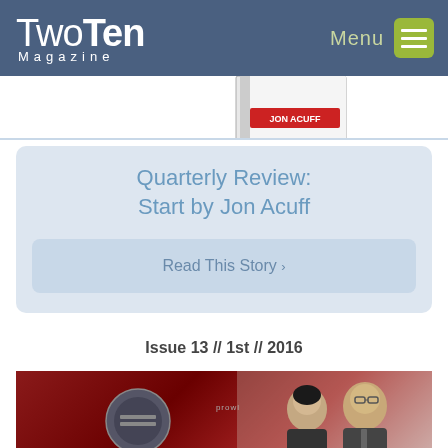TwoTen Magazine
[Figure (photo): Partial view of a book cover by Jon Acuff]
Quarterly Review: Start by Jon Acuff
Read This Story >
Issue 13 // 1st // 2016
[Figure (photo): Magazine cover showing DIVINE BY text and two people (woman and man) on a dark red background]